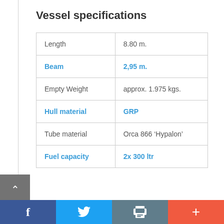Vessel specifications
|  |  |
| --- | --- |
| Length | 8.80 m. |
| Beam | 2,95 m. |
| Empty Weight | approx. 1.975 kgs. |
| Hull material | GRP |
| Tube material | Orca 866 ‘Hypalon’ |
| Fuel capacity | 2x 300 ltr |
Engine specifications
f  Twitter  Print  +